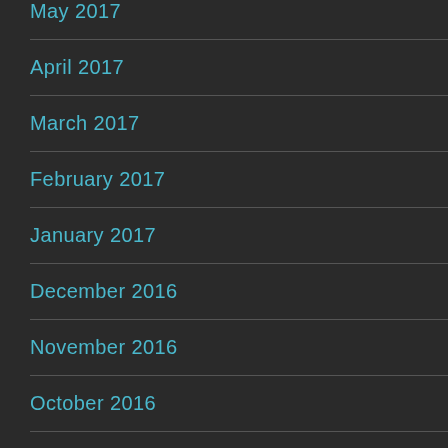May 2017
April 2017
March 2017
February 2017
January 2017
December 2016
November 2016
October 2016
September 2016